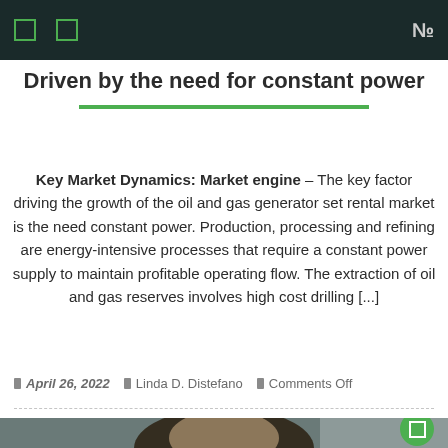Navigation bar with icons
Driven by the need for constant power
Key Market Dynamics: Market engine – The key factor driving the growth of the oil and gas generator set rental market is the need constant power. Production, processing and refining are energy-intensive processes that require a constant power supply to maintain profitable operating flow. The extraction of oil and gas reserves involves high cost drilling [...]
April 26, 2022   Linda D. Distefano   Comments Off
[Figure (photo): Portrait photo of a person, partially visible at the bottom of the page, with a green circular button overlay in the bottom-right corner]